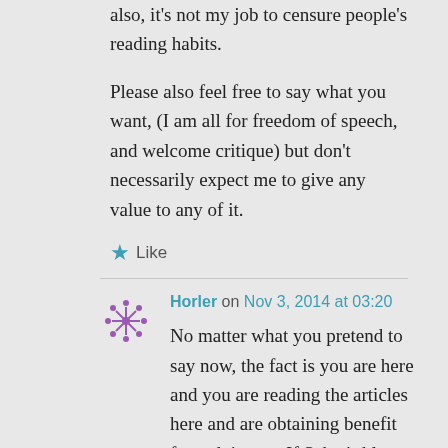also, it's not my job to censure people's reading habits.
Please also feel free to say what you want, (I am all for freedom of speech, and welcome critique) but don't necessarily expect me to give any value to any of it.
Like
Horler on Nov 3, 2014 at 03:20
No matter what you pretend to say now, the fact is you are here and you are reading the articles here and are obtaining benefit from doing so. If Saker's blog was fully meeting your requirements you wouldn't be